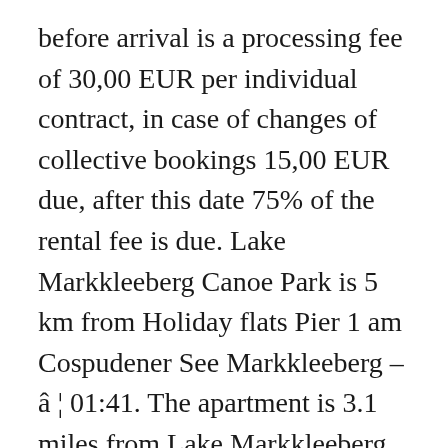before arrival is a processing fee of 30,00 EUR per individual contract, in case of changes of collective bookings 15,00 EUR due, after this date 75% of the rental fee is due. Lake Markkleeberg Canoe Park is 5 km from Holiday flats Pier 1 am Cospudener See Markkleeberg – â ¦ 01:41. The apartment is 3.1 miles from Lake Markkleeberg Canoe Park. The following applies to persons 3 and 4: Children from 4–15 years pay â ¬ 10,00 per night / person and from 16 years â ¬ 20,00 per night / person. 3.9 km/h. Stay at this resort in Markkleeberg. Our Tour recommendations are based on thousands of activities completed by other people on komoot. The ground is visible for a